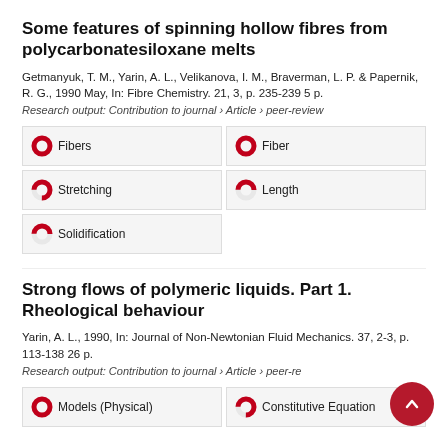Some features of spinning hollow fibres from polycarbonatesiloxane melts
Getmanyuk, T. M., Yarin, A. L., Velikanova, I. M., Braverman, L. P. & Papernik, R. G., 1990 May, In: Fibre Chemistry. 21, 3, p. 235-239 5 p.
Research output: Contribution to journal › Article › peer-review
[Figure (infographic): Keyword badges with donut chart indicators: Fibers (100%), Fiber (100%), Stretching (75%), Length (50%), Solidification (50%)]
Strong flows of polymeric liquids. Part 1. Rheological behaviour
Yarin, A. L., 1990, In: Journal of Non-Newtonian Fluid Mechanics. 37, 2-3, p. 113-138 26 p.
Research output: Contribution to journal › Article › peer-review
[Figure (infographic): Keyword badges: Models (Physical) (100%), Constitutive Equation (partial)]